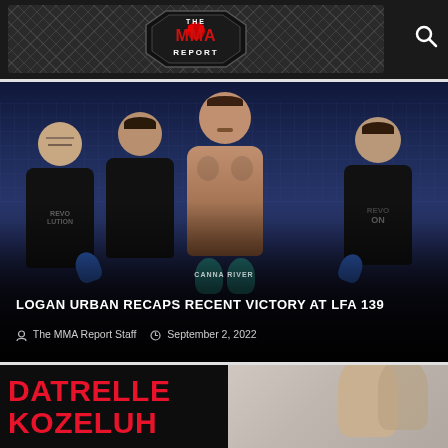[Figure (logo): The MMA Report logo — octagon-shaped logo with chain-link fence background, skull graphic, text 'THE MMA REPORT' in red and white. Search icon (magnifying glass) at right.]
[Figure (photo): Four men posing in an MMA arena/cage. Center man is shirtless (MMA fighter, Logan Urban) with teal/blue gloves. Three men in black t-shirts with 'REVOLUTION' branding flank him. Blue gloves visible. Arena lighting in background.]
LOGAN URBAN RECAPS RECENT VICTORY AT LFA 139
The MMA Report Staff  September 2, 2022
[Figure (photo): Partial view of second article card showing red bold text 'DATRELLE KOZELUH' on dark background, and a partial photo of a person on the right side.]